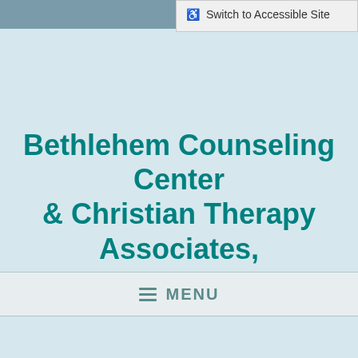[Figure (screenshot): Teal/grey header bar on the left portion of the top]
♿ Switch to Accessible Site
Bethlehem Counseling Center & Christian Therapy Associates, LLC.
Phone: (610) 867-8657
≡ MENU